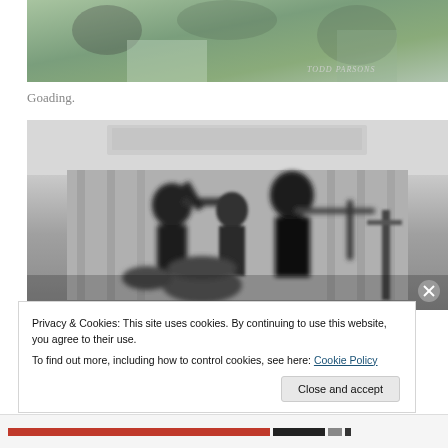[Figure (photo): Top portion of a color photo showing hands and people, with 'Todd Parsons' watermark in the corner]
Goading.
[Figure (photo): Black and white blurred photo of a band performing, with musicians playing trombone and other instruments on stage]
Privacy & Cookies: This site uses cookies. By continuing to use this website, you agree to their use.
To find out more, including how to control cookies, see here: Cookie Policy
Close and accept